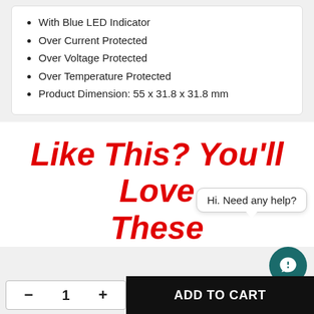With Blue LED Indicator
Over Current Protected
Over Voltage Protected
Over Temperature Protected
Product Dimension: 55 x 31.8 x 31.8 mm
Like This? You'll Love These
Hi. Need any help?